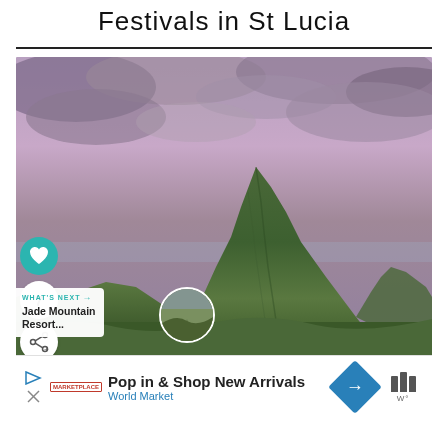Festivals in St Lucia
[Figure (photo): Dramatic photo of a tall green volcanic mountain peak (Piton) in St Lucia with stormy purple-pink clouds above and lush tropical vegetation below; overlaid with UI elements including a teal heart button, like count badge showing 7, share button, and a 'What's Next: Jade Mountain Resort...' card with thumbnail]
[Figure (other): Advertisement bar for World Market: 'Pop in & Shop New Arrivals' with blue navigation arrow icon and World Market logo]